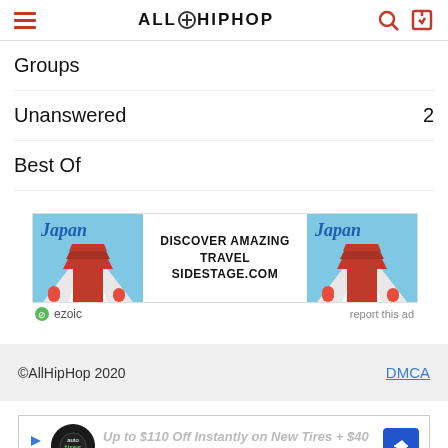AllHipHop
Groups
Unanswered  2
Best Of
[Figure (infographic): Japan travel advertisement banner with pagoda image. Text: DISCOVER AMAZING TRAVEL SIDESTAGE.COM. Ezoic badge and 'report this ad' link.]
©AllHipHop 2020   DMCA
[Figure (infographic): Bottom advertisement banner: Up to $110 Off Instantly on New Tires + $40 Off Alignments, with Tires logo and blue arrow button.]